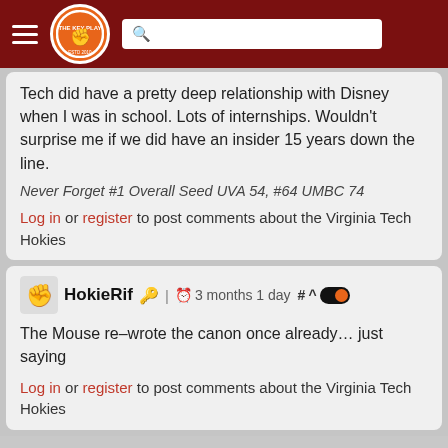The Key Play — navigation header with logo and search bar
Tech did have a pretty deep relationship with Disney when I was in school. Lots of internships. Wouldn't surprise me if we did have an insider 15 years down the line.
Never Forget #1 Overall Seed UVA 54, #64 UMBC 74
Log in or register to post comments about the Virginia Tech Hokies
HokieRif 🔑 | 3 months 1 day # ^
The Mouse re-wrote the canon once already… just saying
Log in or register to post comments about the Virginia Tech Hokies